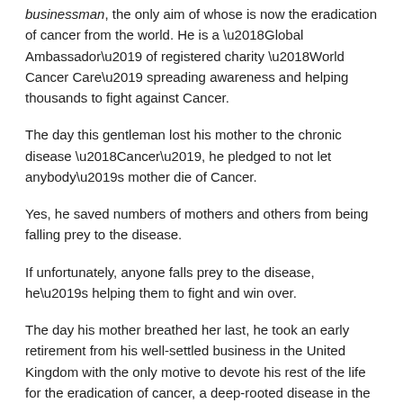businessman, the only aim of whose is now the eradication of cancer from the world. He is a ‘Global Ambassador’ of registered charity ‘World Cancer Care’ spreading awareness and helping thousands to fight against Cancer.
The day this gentleman lost his mother to the chronic disease ‘Cancer’, he pledged to not let anybody’s mother die of Cancer.
Yes, he saved numbers of mothers and others from being falling prey to the disease.
If unfortunately, anyone falls prey to the disease, he’s helping them to fight and win over.
The day his mother breathed her last, he took an early retirement from his well-settled business in the United Kingdom with the only motive to devote his rest of the life for the eradication of cancer, a deep-rooted disease in the society.